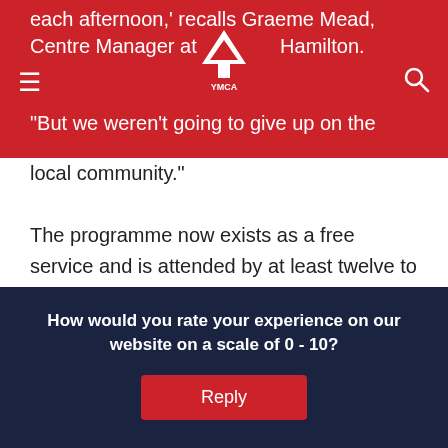each afternoon,' recalls Graeme Mead, Centre Manager at YMCA Hamilton. 'But we weren't going to give up on the local community.'
The programme now exists as a free service and is attended by at least twelve to fourteen kids every day. Parents are asked to pay a small koha, but only if they are able. Melville Primary School - who have been “wonderful,” Graeme says - provides the hall free of charge, while YM…
How would you rate your experience on our website on a scale of 0 - 10?
Reply